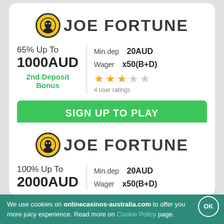[Figure (logo): Joe Fortune casino logo with yellow/black circular icon and bold dark text]
65% Up To
1000AUD
2nd Deposit Bonus
Min.dep  20AUD
Wager  x50(B+D)
4 user ratings
SIGN UP TO PLAY
[Figure (logo): Joe Fortune casino logo second card]
100% Up To
2000AUD
Min.dep  20AUD
Wager  x50(B+D)
We use cookies on onlinecasinos-australia.com to offer you more juicy experience. Read more on Cookie Policy page.